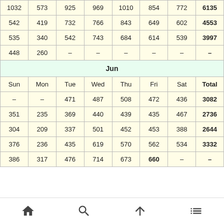| Sun | Mon | Tue | Wed | Thu | Fri | Sat | Total |
| --- | --- | --- | --- | --- | --- | --- | --- |
| 1032 | 573 | 925 | 969 | 1010 | 854 | 772 | 6135 |
| 542 | 419 | 732 | 766 | 843 | 649 | 602 | 4553 |
| 535 | 340 | 542 | 743 | 684 | 614 | 539 | 3997 |
| 448 | 260 | – | – | – | – | – | – |
| Jun |  |  |  |  |  |  |  |
| Sun | Mon | Tue | Wed | Thu | Fri | Sat | Total |
| – | – | 471 | 487 | 508 | 472 | 436 | 3082 |
| 351 | 235 | 369 | 440 | 439 | 435 | 467 | 2736 |
| 304 | 209 | 337 | 501 | 452 | 453 | 388 | 2644 |
| 376 | 236 | 435 | 619 | 570 | 562 | 534 | 3332 |
| 386 | 317 | 476 | 714 | 673 | 660 | – | – |
Home | Search | Up | Menu